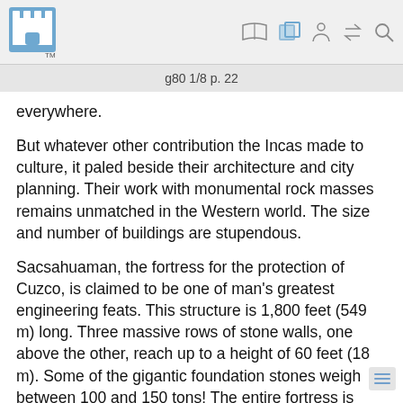g80 1/8 p. 22
everywhere.
But whatever other contribution the Incas made to culture, it paled beside their architecture and city planning. Their work with monumental rock masses remains unmatched in the Western world. The size and number of buildings are stupendous.
Sacsahuaman, the fortress for the protection of Cuzco, is claimed to be one of man’s greatest engineering feats. This structure is 1,800 feet (549 m) long. Three massive rows of stone walls, one above the other, reach up to a height of 60 feet (18 m). Some of the gigantic foundation stones weigh between 100 and 150 tons! The entire fortress is made up of some 300,000 stones.